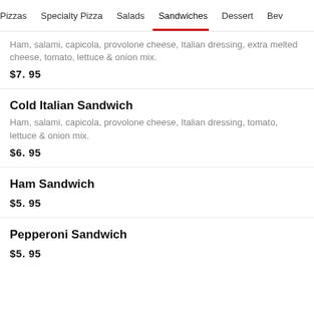Pizzas  Specialty Pizza  Salads  Sandwiches  Dessert  Bev
Ham, salami, capicola, provolone cheese, Italian dressing, extra melted cheese, tomato, lettuce & onion mix.
$7. 95
Cold Italian Sandwich
Ham, salami, capicola, provolone cheese, Italian dressing, tomato, lettuce & onion mix.
$6. 95
Ham Sandwich
$5. 95
Pepperoni Sandwich
$5. 95